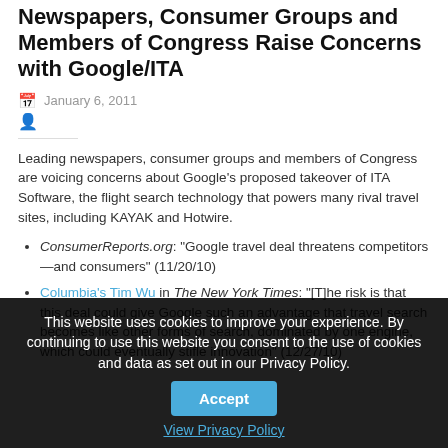Newspapers, Consumer Groups and Members of Congress Raise Concerns with Google/ITA
January 6, 2011
Leading newspapers, consumer groups and members of Congress are voicing concerns about Google’s proposed takeover of ITA Software, the flight search technology that powers many rival travel sites, including KAYAK and Hotwire.
ConsumerReports.org: “Google travel deal threatens competitors—and consumers” (11/20/10)
Columbia’s Tim Wu in The New York Times: “[T]he risk is that this deal could give Google such an advantage that travel search becomes like other forms of search, dominated by one engine, which could eventually stifle innovation” (12/27/10)
This website uses cookies to improve your experience. By continuing to use this website you consent to the use of cookies and data as set out in our Privacy Policy.
Accept
View Privacy Policy